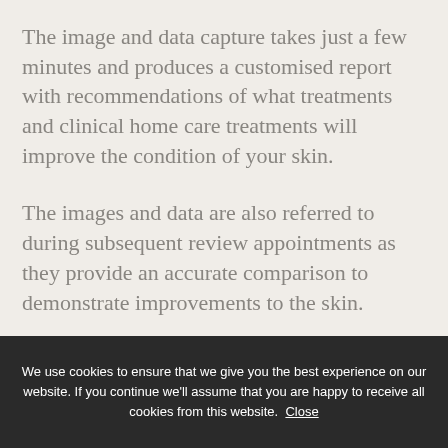The image and data capture takes just a few minutes and produces a customised report with recommendations of what treatments and clinical home care treatments will improve the condition of your skin.
The images and data are also referred to during subsequent review appointments as they provide an accurate comparison to demonstrate improvements to the skin.
We use cookies to ensure that we give you the best experience on our website. If you continue we'll assume that you are happy to receive all cookies from this website. Close